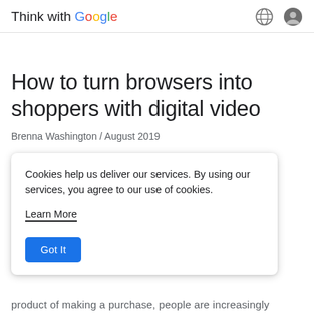Think with Google
How to turn browsers into shoppers with digital video
Brenna Washington / August 2019
Cookies help us deliver our services. By using our services, you agree to our use of cookies.
Learn More
Got It
product of making a purchase, people are increasingly